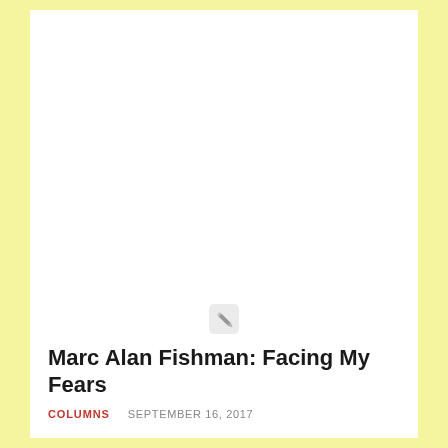[Figure (illustration): Small pencil/edit icon rendered in gray tones]
Marc Alan Fishman: Facing My Fears
COLUMNS    SEPTEMBER 16, 2017